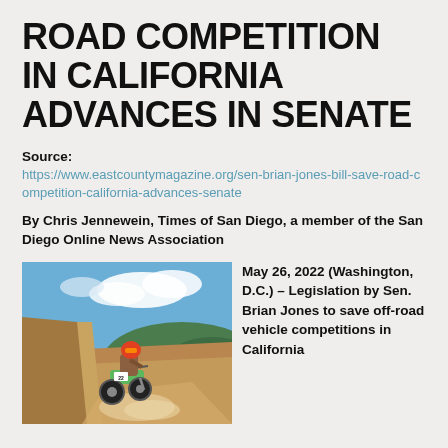ROAD COMPETITION IN CALIFORNIA ADVANCES IN SENATE
Source:
https://www.eastcountymagazine.org/sen-brian-jones-bill-save-road-competition-california-advances-senate
By Chris Jennewein, Times of San Diego, a member of the San Diego Online News Association
[Figure (photo): Motocross rider on a dirt bike racing on a dusty off-road trail with hills and blue sky in the background]
May 26, 2022 (Washington, D.C.) – Legislation by Sen. Brian Jones to save off-road vehicle competitions in California